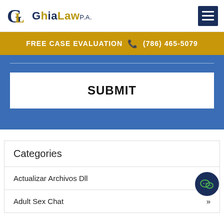[Figure (logo): Ghia Law P.A. logo with GL monogram and text]
FREE CASE EVALUATION  (786) 465-5079
SUBMIT
Categories
Actualizar Archivos Dll
Adult Sex Chat